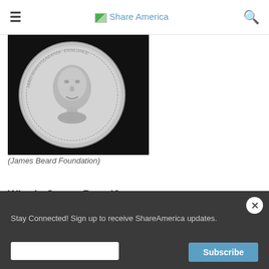Share America
[Figure (photo): A silver James Beard Foundation award medal showing a relief portrait of James Beard on a dark background]
(James Beard Foundation)
Who is James Beard?
James Beard was an iconic American chef, restaurateur, cookbook author and mentor to generations of professional chefs. The James Beard Foundation was established in 1986, a year after his death, to celebrate and promote food in...
Stay Connected! Sign up to receive ShareAmerica updates.